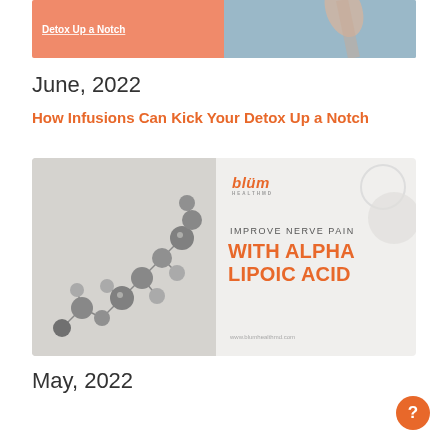[Figure (photo): Top banner image showing partial text 'Detox Up a Notch' on orange background with a person jumping off a dock over water]
June, 2022
How Infusions Can Kick Your Detox Up a Notch
[Figure (illustration): Blum Health MD promotional card showing a molecular chain illustration on gray background (left) and text 'IMPROVE NERVE PAIN WITH ALPHA LIPOIC ACID' with blum healthmd logo and www.blumhealthmd.com on light gray background (right)]
May, 2022